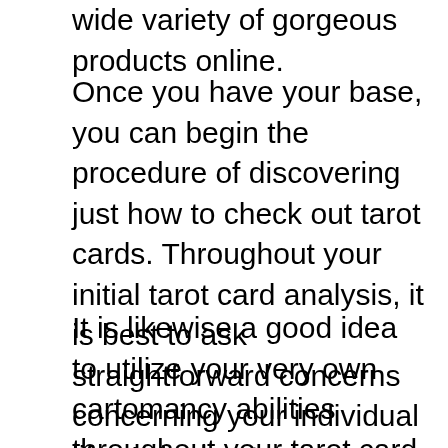wide variety of gorgeous products online.
Once you have your base, you can begin the procedure of discovering just how to check out tarot cards. Throughout your initial tarot card analysis, it is best to ask straightforward concerns concerning your individual life. Ask about your desires as well as daily activities. You want to get an idea of what your individual tarot card analysis meaning is.
It is likewise a good idea to utilize your very own cartomancy abilities throughout your tarot card reading. When you look at the cards, you can begin to create a picture in your mind's eye. This can be done by drawing a standard layout of on your own or